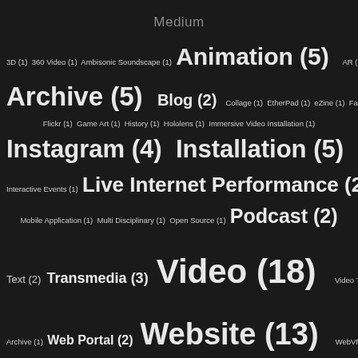Medium
3D (1) 360 Video (1) Ambisonic Soundscape (1) Animation (5) AR (1) Archive (5) Blog (2) Collage (1) EtherPad (1) eZine (1) Facebook (1) Flickr (1) Game Art (1) History (1) Hololens (1) Immersive Video Installation (1) Instagram (4) Installation (5) Interactive Holograms (1) Live & Interactive Events (1) Live Internet Performance (2) Magazine (1) Mobile Application (1) Multi Disciplinary (1) Open Source (1) Podcast (2) Text (2) Transmedia (3) Video (18) Video Tutorial (1) Web Archive (1) Web Portal (2) Website (13) WebVR (1)
Issue
Advertising (1) Algorithm (2) Art+Science (4) Chicana